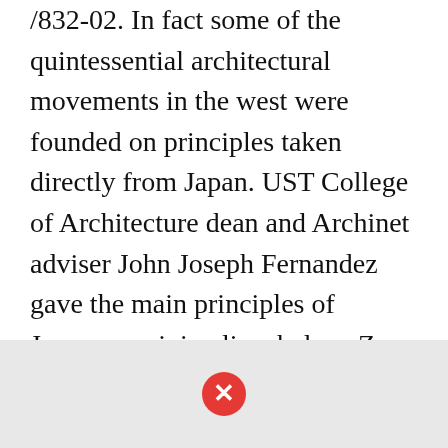/832-02. In fact some of the quintessential architectural movements in the west were founded on principles taken directly from Japan. UST College of Architecture dean and Archinet adviser John Joseph Fernandez gave the main principles of Japanese minimalism below. Zen and the Japanese Architecture. An upright post in the center of a roof truss extending from the tie beam to the apex of the truss.
[Figure (other): Gray placeholder image block with a red circle X error icon in the center, indicating a missing or broken image.]